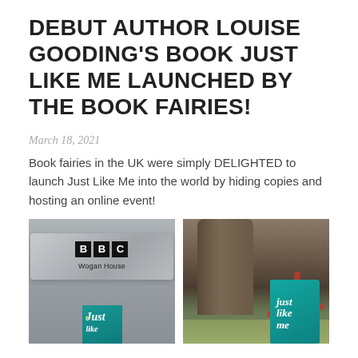DEBUT AUTHOR LOUISE GOODING'S BOOK JUST LIKE ME LAUNCHED BY THE BOOK FAIRIES!
March 18, 2021
Book fairies in the UK were simply DELIGHTED to launch Just Like Me into the world by hiding copies and hosting an online event!
[Figure (photo): Photo of a book titled 'Just Like Me' placed in front of BBC Wogan House sign on a metallic plaque background]
[Figure (photo): Photo of a book titled 'Just Like Me' with a red ribbon tied around it, leaning against a tree trunk outdoors]